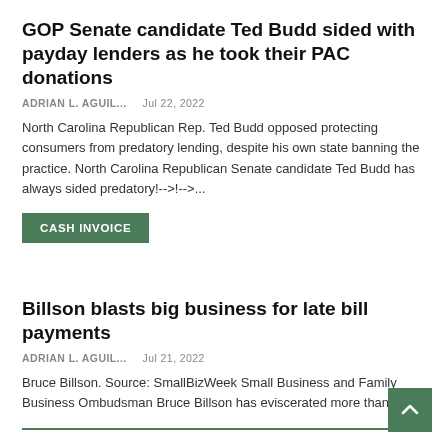GOP Senate candidate Ted Budd sided with payday lenders as he took their PAC donations
ADRIAN L. AGUIL...   Jul 22, 2022
North Carolina Republican Rep. Ted Budd opposed protecting consumers from predatory lending, despite his own state banning the practice. North Carolina Republican Senate candidate Ted Budd has always sided predatory!-->!-->...
CASH INVOICE
Billson blasts big business for late bill payments
ADRIAN L. AGUIL...   Jul 21, 2022
Bruce Billson. Source: SmallBizWeek Small Business and Family Business Ombudsman Bruce Billson has eviscerated more than...